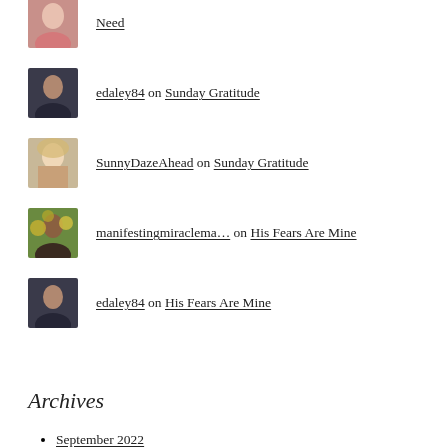edaley84 on Sunday Gratitude
SunnyDazeAhead on Sunday Gratitude
manifestingmiraclema… on His Fears Are Mine
edaley84 on His Fears Are Mine
Archives
September 2022
August 2022
July 2022